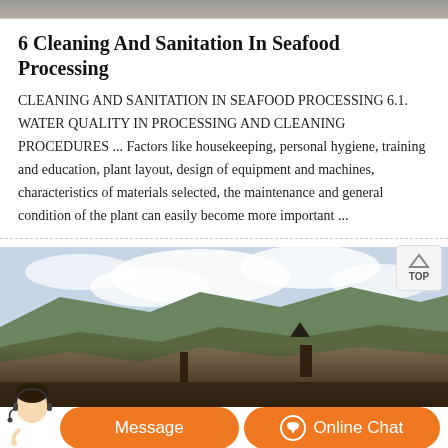[Figure (photo): Top partial landscape/terrain photo cropped at top of page]
6 Cleaning And Sanitation In Seafood Processing
CLEANING AND SANITATION IN SEAFOOD PROCESSING 6.1. WATER QUALITY IN PROCESSING AND CLEANING PROCEDURES ... Factors like housekeeping, personal hygiene, training and education, plant layout, design of equipment and machines, characteristics of materials selected, the maintenance and general condition of the plant can easily become more important ...
[Figure (photo): Landscape photo showing mountainous terrain with construction or mining activity, cloudy sky, with a TOP navigation button overlay and a chat bar at the bottom with Message and Online Chat buttons and a customer service representative figure]